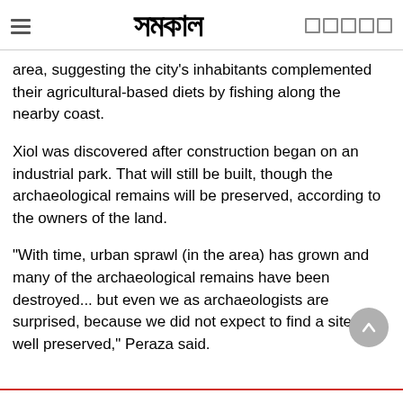সমকাল
area, suggesting the city's inhabitants complemented their agricultural-based diets by fishing along the nearby coast.
Xiol was discovered after construction began on an industrial park. That will still be built, though the archaeological remains will be preserved, according to the owners of the land.
"With time, urban sprawl (in the area) has grown and many of the archaeological remains have been destroyed... but even we as archaeologists are surprised, because we did not expect to find a site so well preserved," Peraza said.